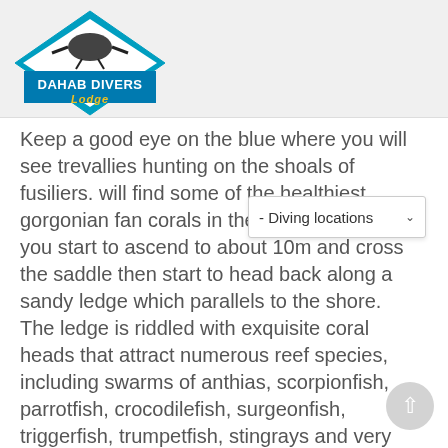[Figure (logo): Dahab Divers Lodge logo with diamond shape, diver silhouette, and blue/black text]
Keep a good eye on the blue where you will see trevallies hunting on the shoals of fusiliers. will find some of the healthiest gorgonian fan corals in the Red Sea. Here you start to ascend to about 10m and cross the saddle then start to head back along a sandy ledge which parallels to the shore. The ledge is riddled with exquisite coral heads that attract numerous reef species, including swarms of anthias, scorpionfish, parrotfish, crocodilefish, surgeonfish, triggerfish, trumpetfish, stingrays and very often a turtle. At the end of the ledge usually is home to a shoal of black and white snappers and twinspot snappers hang here between 5m and 10m. One of the truly breathtaking dives in Dahab.
[Figure (screenshot): Dropdown menu overlay showing '- Diving locations' with a down arrow chevron]